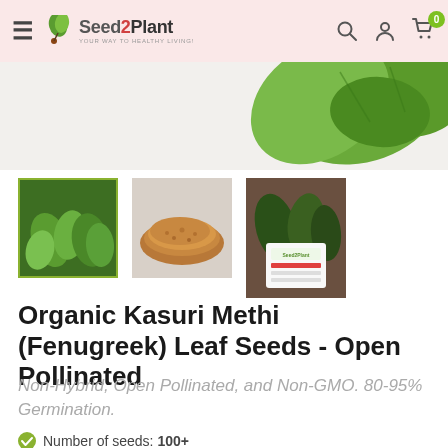Seed2Plant – YOUR WAY TO HEALTHY LIVING!
[Figure (photo): Seed2Plant website screenshot showing product thumbnails of Organic Kasuri Methi (Fenugreek) Leaf Seeds: green herb leaves (selected, with olive border), brown crushed seeds, and product packaging with plants]
Organic Kasuri Methi (Fenugreek) Leaf Seeds - Open Pollinated
Non-Hybrid, Open Pollinated, and Non-GMO. 80-95% Germination.
Number of seeds: 100+